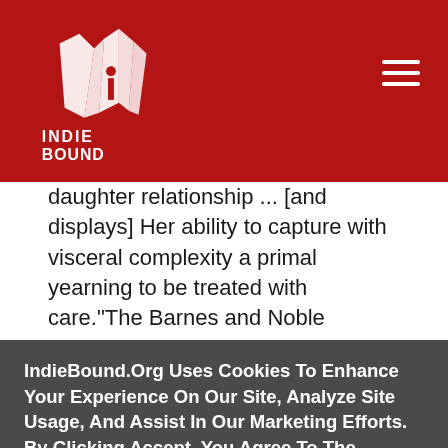IndieBound logo and navigation header
daughter relationship ... [and displays] Her ability to capture with visceral complexity a primal yearning to be treated with care."The Barnes and Noble Review
King doesn't flinch away from telling family secretsthe embarrassing and hurtful moments, the
IndieBound.Org Uses Cookies To Enhance Your Experience On Our Site, Analyze Site Usage, And Assist In Our Marketing Efforts. By Clicking Accept, You Agree To The Storing Of Cookies On Your Device. View Our Cookie Policy.
Give me more info
Accept all Cookies